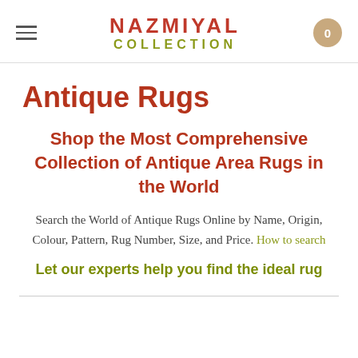Nazmiyal Collection
Antique Rugs
Shop the Most Comprehensive Collection of Antique Area Rugs in the World
Search the World of Antique Rugs Online by Name, Origin, Colour, Pattern, Rug Number, Size, and Price. How to search
Let our experts help you find the ideal rug